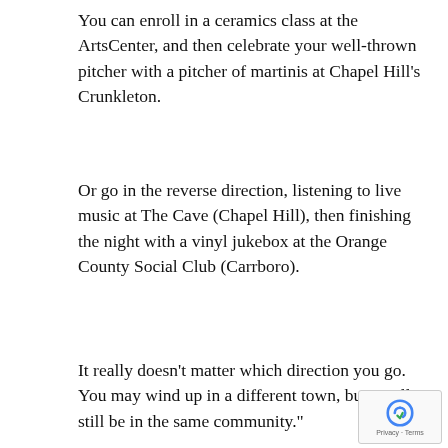You can enroll in a ceramics class at the ArtsCenter, and then celebrate your well-thrown pitcher with a pitcher of martinis at Chapel Hill’s Crunkleton.
Or go in the reverse direction, listening to live music at The Cave (Chapel Hill), then finishing the night with a vinyl jukebox at the Orange County Social Club (Carrboro).
It really doesn’t matter which direction you go. You may wind up in a different town, but you’ll still be in the same community.”
Welcome all.
[Figure (photo): A person wearing a yellow/green cap photographed from below against a dark blurred background, partial view of upper body]